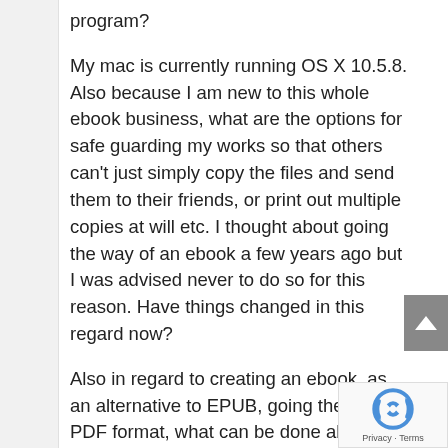program?
My mac is currently running OS X 10.5.8. Also because I am new to this whole ebook business, what are the options for safe guarding my works so that others can't just simply copy the files and send them to their friends, or print out multiple copies at will etc. I thought about going the way of an ebook a few years ago but I was advised never to do so for this reason. Have things changed in this regard now?
Also in regard to creating an ebook, as an alternative to EPUB, going the way a PDF format, what can be done abou...